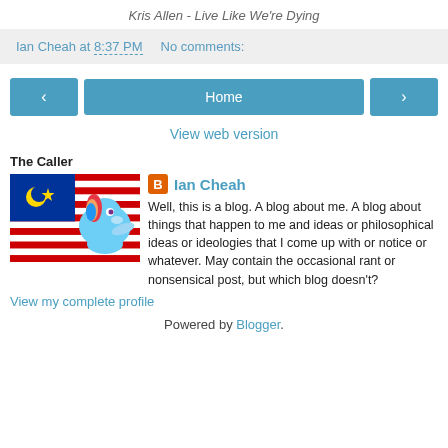Kris Allen - Live Like We're Dying
Ian Cheah at 8:37 PM   No comments:
[Figure (other): Navigation buttons: left arrow, Home, right arrow]
View web version
The Caller
[Figure (illustration): Profile image showing Malaysian flag with a cartoon pony character overlay]
Ian Cheah
Well, this is a blog. A blog about me. A blog about things that happen to me and ideas or philosophical ideas or ideologies that I come up with or notice or whatever. May contain the occasional rant or nonsensical post, but which blog doesn't?
View my complete profile
Powered by Blogger.